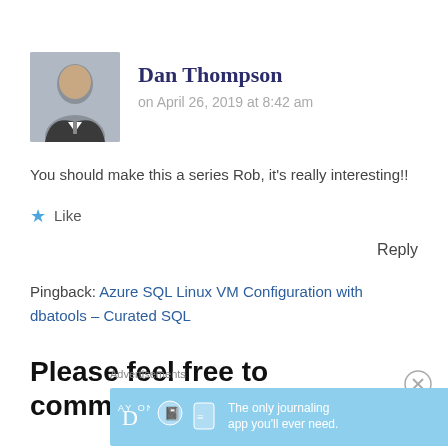[Figure (photo): Headshot photo of Dan Thompson, a man in business attire smiling]
Dan Thompson
on April 26, 2019 at 8:42 am
You should make this a series Rob, it's really interesting!!
★ Like
Reply
Pingback: Azure SQL Linux VM Configuration with dbatools – Curated SQL
Please feel free to comment on this
Advertisements
[Figure (screenshot): Day One app advertisement banner with blue background showing app icons and text: The only journaling app you'll ever need.]